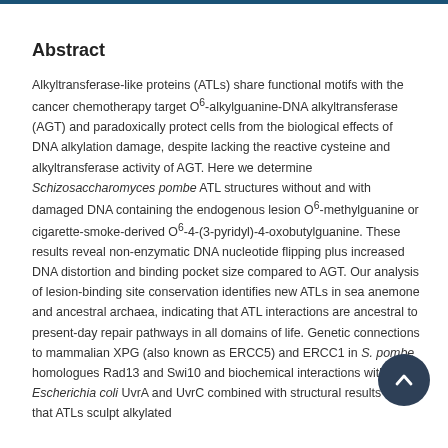Abstract
Alkyltransferase-like proteins (ATLs) share functional motifs with the cancer chemotherapy target O6-alkylguanine-DNA alkyltransferase (AGT) and paradoxically protect cells from the biological effects of DNA alkylation damage, despite lacking the reactive cysteine and alkyltransferase activity of AGT. Here we determine Schizosaccharomyces pombe ATL structures without and with damaged DNA containing the endogenous lesion O6-methylguanine or cigarette-smoke-derived O6-4-(3-pyridyl)-4-oxobutylguanine. These results reveal non-enzymatic DNA nucleotide flipping plus increased DNA distortion and binding pocket size compared to AGT. Our analysis of lesion-binding site conservation identifies new ATLs in sea anemone and ancestral archaea, indicating that ATL interactions are ancestral to present-day repair pathways in all domains of life. Genetic connections to mammalian XPG (also known as ERCC5) and ERCC1 in S. pombe homologues Rad13 and Swi10 and biochemical interactions with Escherichia coli UvrA and UvrC combined with structural results reveal that ATLs sculpt alkylated